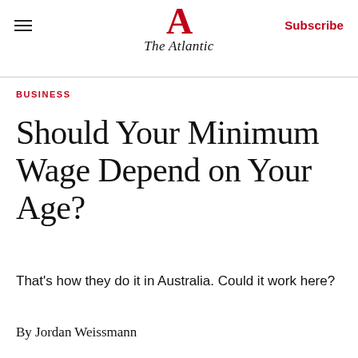The Atlantic
BUSINESS
Should Your Minimum Wage Depend on Your Age?
That's how they do it in Australia. Could it work here?
By Jordan Weissmann